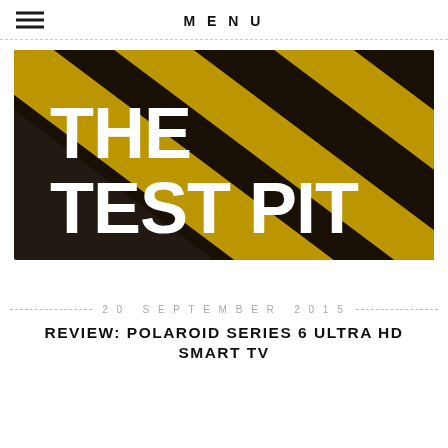MENU
[Figure (logo): The Test Pit logo: bold white text 'THE TEST PIT' on a yellow and black diagonal hazard stripes background]
20 SEPTEMBER 2015
REVIEW: POLAROID SERIES 6 ULTRA HD SMART TV